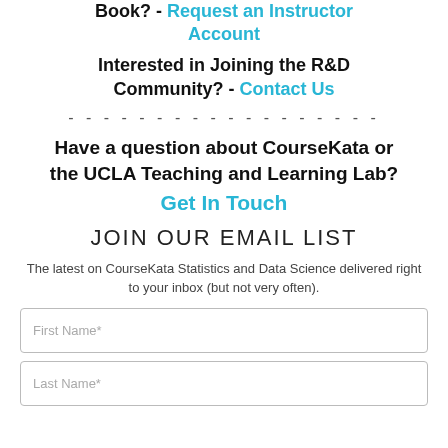Book? - Request an Instructor Account
Interested in Joining the R&D Community? - Contact Us
- - - - - - - - - - - - - - - - - -
Have a question about CourseKata or the UCLA Teaching and Learning Lab? Get In Touch
JOIN OUR EMAIL LIST
The latest on CourseKata Statistics and Data Science delivered right to your inbox (but not very often).
First Name*
Last Name*